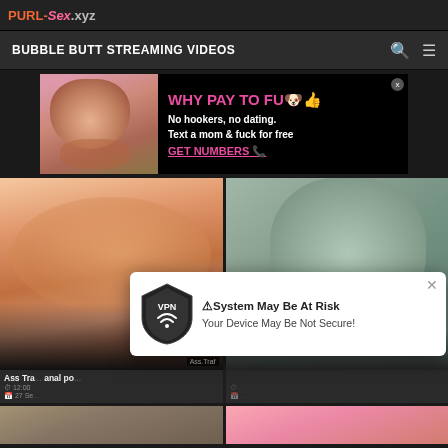PURL-Sex.xyz
BUBBLE BUTT STREAMING VIDEOS
[Figure (screenshot): Advertisement banner: image on left, text on right reading 'WHY PAY TO FU**' with 'No hookers, no dating. Text a mom & fuck for free' and 'GET NUMBERS' CTA]
[Figure (photo): Left video thumbnail: explicit adult content]
[Figure (photo): Right video thumbnail: explicit adult content]
Ass Tra... anal po...
12:00
27 Se...
[Figure (infographic): VPN popup notification: shield icon with VPN label, text reading '⚠System May Be At Risk - Your Device May Be Not Secure!' with close button (x)]
[Figure (photo): Bottom strip: two partial video thumbnails]